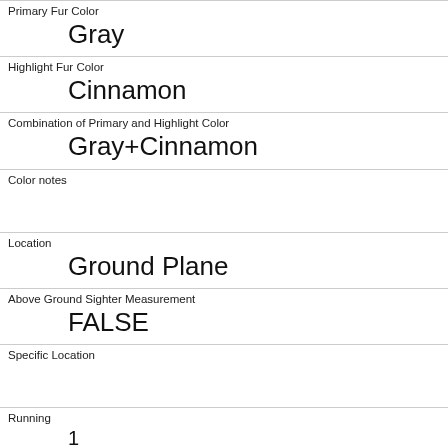| Primary Fur Color | Gray |
| Highlight Fur Color | Cinnamon |
| Combination of Primary and Highlight Color | Gray+Cinnamon |
| Color notes |  |
| Location | Ground Plane |
| Above Ground Sighter Measurement | FALSE |
| Specific Location |  |
| Running | 1 |
| Chasing | 1 |
| Climbing | 1 |
| Eating |  |